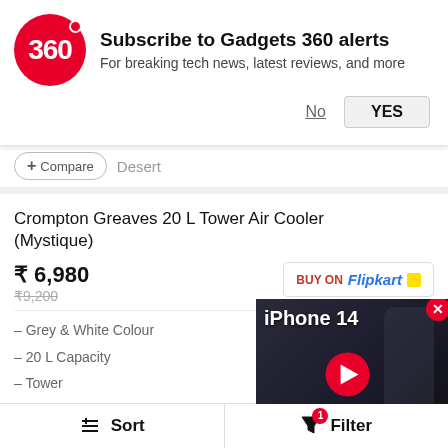Subscribe to Gadgets 360 alerts
For breaking tech news, latest reviews, and more
+ Compare   Desert
Crompton Greaves 20 L Tower Air Cooler (Mystique)
₹ 6,980
₹9,200
BUY ON Flipkart
Grey & White Colour
20 L Capacity
Tower
+ Compare
[Figure (screenshot): iPhone 14 Review Roundup video overlay with play button]
Crompton Greaves 52 L ... (Optimus Neo 52)
₹ 10,999
₹13,000
BUY ON amazon
Sort   Filter